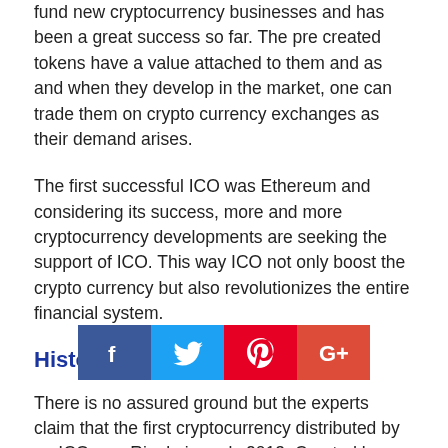fund new cryptocurrency businesses and has been a great success so far. The pre created tokens have a value attached to them and as and when they develop in the market, one can trade them on crypto currency exchanges as their demand arises.
The first successful ICO was Ethereum and considering its success, more and more cryptocurrency developments are seeking the support of ICO. This way ICO not only boost the crypto currency but also revolutionizes the entire financial system.
History of Initial Coin Offering?
There is no assured ground but the experts claim that the first cryptocurrency distributed by an ICO was Ripple in early 2013. Created by Ripple Labs, the Ripple Payment System created 100 billion XRP tokens for the first release. These tokens were sold to raise funds for the development.
[Figure (other): Social media share buttons: Facebook, Twitter, Pinterest, Google+]